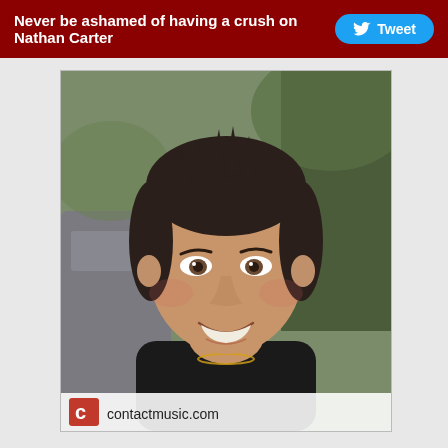Never be ashamed of having a crush on Nathan Carter  Tweet
[Figure (photo): Close-up photo of Nathan Carter, a young man with dark spiked hair, smiling, wearing a black shirt with a gold chain, in front of a blurred outdoor background. Contactmusic.com logo visible at bottom.]